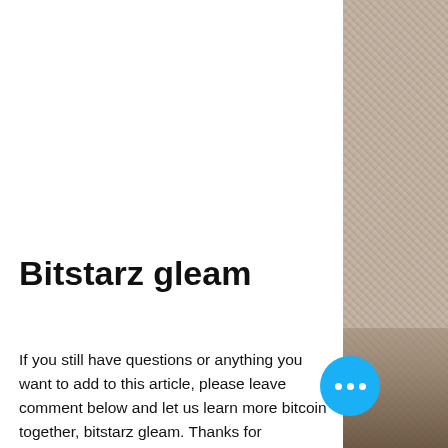[Figure (photo): Textured/noisy photo panel on the right side of the page, appears to be an outdoor scene with muted colors]
Bitstarz gleam
If you still have questions or anything you want to add to this article, please leave comment below and let us learn more bitcoin together, bitstarz gleam. Thanks for